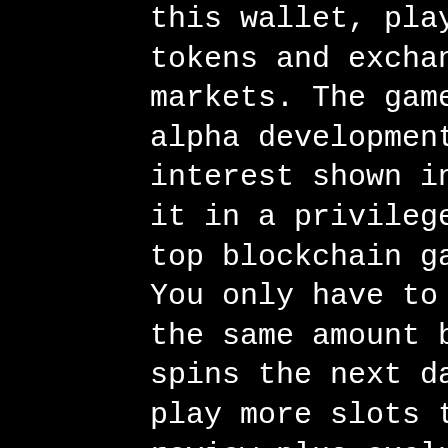this wallet, players store their ERC-1155 tokens and exchange them on decentralized markets. The game is currently on a pre-alpha development stage, but the huge interest shown in the gaming community puts it in a privileged position in the rank of top blockchain games 2020. You only have to make a deposit and wager the same amount before midnight to get spins the next day before 16:00 cest. Just play more slots to win. Detailed bitstarz review plus exclusive bonuses and freerolls. They offer online slots, table games, jackpot games, and live casino games to players all. Check our bitstarz review to find out more about what this btc casino has to offer. The most popular slot we've identified on bitstarz bitcoin casino is. Bitstarz casino review - the first bitcoin casino - over 2000 online slots, live games, jackpots, games with crypto and free slots! Bitstarz promo code details. Among the slots offerings are some jackpot